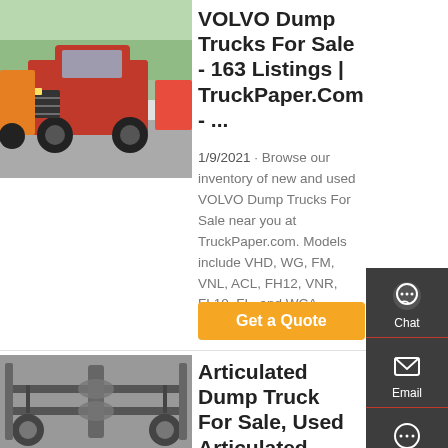[Figure (photo): Photo of red VOLVO dump trucks parked in a lot, viewed from front-left angle]
VOLVO Dump Trucks For Sale - 163 Listings | TruckPaper.Com - ...
1/9/2021 · Browse our inventory of new and used VOLVO Dump Trucks For Sale near you at TruckPaper.com. Models include VHD, WG, FM, VNL, ACL, FH12, VNR, FL10, FL, and WCA.
Get a Quote
[Figure (photo): Undercarriage photo of an articulated dump truck viewed from below]
Articulated Dump Truck For Sale, Used Articulated